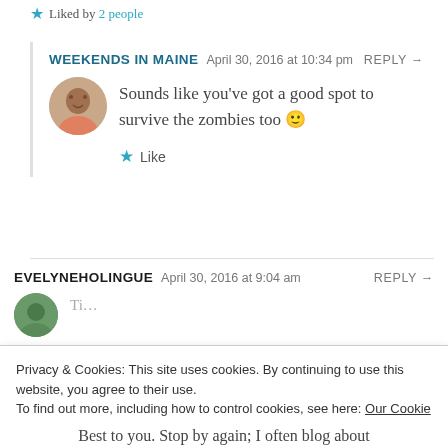Liked by 2 people
WEEKENDS IN MAINE  April 30, 2016 at 10:34 pm  REPLY →
Sounds like you've got a good spot to survive the zombies too 🙂
Like
EVELYNEHOLINGUE  April 30, 2016 at 9:04 am  REPLY →
Privacy & Cookies: This site uses cookies. By continuing to use this website, you agree to their use.
To find out more, including how to control cookies, see here: Our Cookie Policy
Close and accept
Best to you. Stop by again; I often blog about